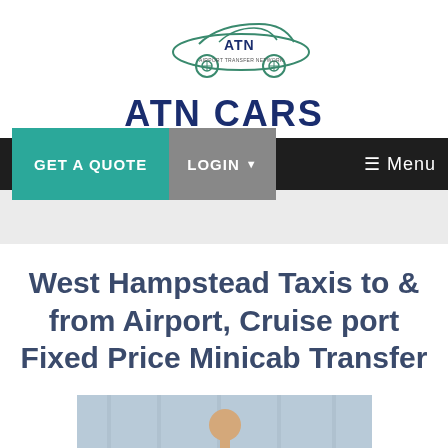[Figure (logo): ATN Cars logo with car illustration and text 'AIRPORT TRANSFER NETWORK' and 'ATN CARS']
[Figure (screenshot): Navigation bar with GET A QUOTE (teal button), LOGIN (grey button with dropdown arrow), and hamburger Menu button on dark background]
[Figure (photo): Grey banner strip placeholder area below nav]
West Hampstead Taxis to & from Airport, Cruise port Fixed Price Minicab Transfer
[Figure (photo): Partial photo of a man in a suit at what appears to be an airport or transport terminal]